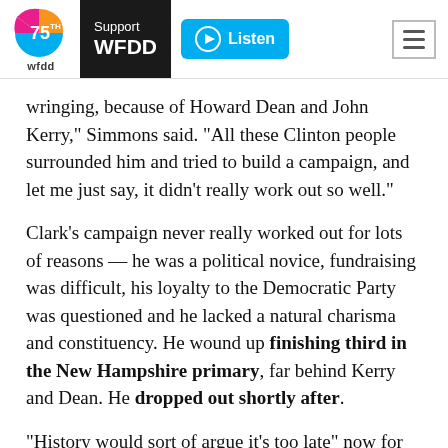WFDD 75th Anniversary | Support WFDD | Listen
wringing, because of Howard Dean and John Kerry," Simmons said. "All these Clinton people surrounded him and tried to build a campaign, and let me just say, it didn't really work out so well."
Clark's campaign never really worked out for lots of reasons — he was a political novice, fundraising was difficult, his loyalty to the Democratic Party was questioned and he lacked a natural charisma and constituency. He wound up finishing third in the New Hampshire primary, far behind Kerry and Dean. He dropped out shortly after.
"History would sort of argue it's too late" now for